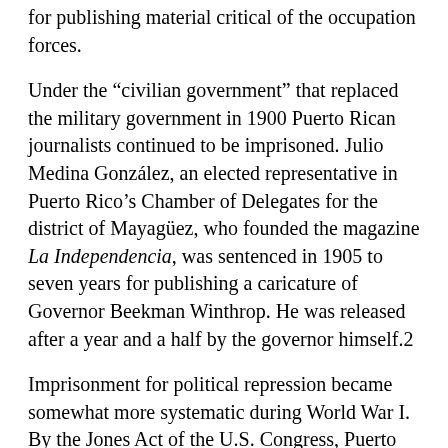for publishing material critical of the occupation forces.
Under the “civilian government” that replaced the military government in 1900 Puerto Rican journalists continued to be imprisoned. Julio Medina González, an elected representative in Puerto Rico’s Chamber of Delegates for the district of Mayagüez, who founded the magazine La Independencia, was sentenced in 1905 to seven years for publishing a caricature of Governor Beekman Winthrop. He was released after a year and a half by the governor himself.2
Imprisonment for political repression became somewhat more systematic during World War I. By the Jones Act of the U.S. Congress, Puerto Ricans were made U.S. citizens subject to the draft in 1917, the year the U.S. entered the conflict. During that war over 200 Puerto Ricans were imprisoned for